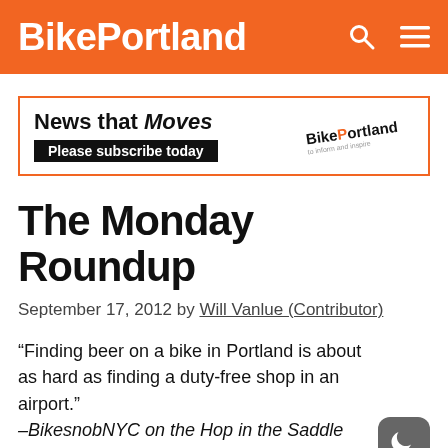BikePortland
[Figure (logo): News that Moves / Please subscribe today — BikePortland newsletter advertisement banner with orange border]
The Monday Roundup
September 17, 2012 by Will Vanlue (Contributor)
“Finding beer on a bike in Portland is about as hard as finding a duty-free shop in an airport.” –BikesnobNYC on the Hop in the Saddle book